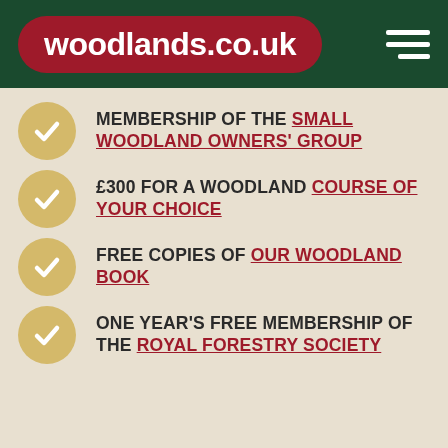woodlands.co.uk
MEMBERSHIP OF THE SMALL WOODLAND OWNERS' GROUP
£300 FOR A WOODLAND COURSE OF YOUR CHOICE
FREE COPIES OF OUR WOODLAND BOOK
ONE YEAR'S FREE MEMBERSHIP OF THE ROYAL FORESTRY SOCIETY